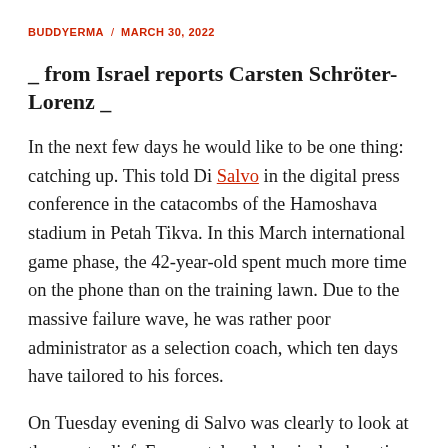BUDDYERMA / MARCH 30, 2022
_ from Israel reports Carsten Schröter-Lorenz _
In the next few days he would like to be one thing: catching up. This told Di Salvo in the digital press conference in the catacombs of the Hamoshava stadium in Petah Tikva. In this March international game phase, the 42-year-old spent much more time on the phone than on the training lawn. Due to the massive failure wave, he was rather poor administrator as a selection coach, which ten days have tailored to his forces.
On Tuesday evening di Salvo was clearly to look at the great relief. For mental and physical exhaustion, joy and